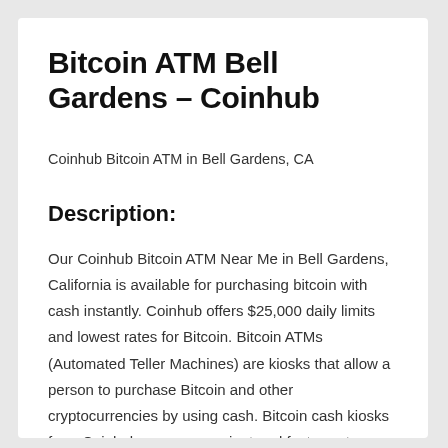Bitcoin ATM Bell Gardens – Coinhub
Coinhub Bitcoin ATM in Bell Gardens, CA
Description:
Our Coinhub Bitcoin ATM Near Me in Bell Gardens, California is available for purchasing bitcoin with cash instantly. Coinhub offers $25,000 daily limits and lowest rates for Bitcoin. Bitcoin ATMs (Automated Teller Machines) are kiosks that allow a person to purchase Bitcoin and other cryptocurrencies by using cash. Bitcoin cash kiosks from Coinhub are a convenient and fast way to purchase Bitcoin and receive it in minutes directly into your wallet. Coinhub